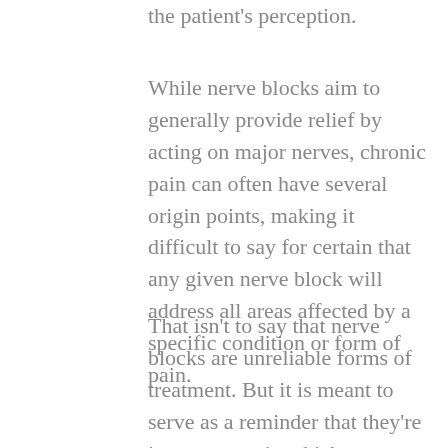the patient's perception.
While nerve blocks aim to generally provide relief by acting on major nerves, chronic pain can often have several origin points, making it difficult to say for certain that any given nerve block will address all areas affected by a specific condition or form of pain.
That isn't to say that nerve blocks are unreliable forms of treatment. But it is meant to serve as a reminder that they're just one way in which medicine can help address pain. In most cases, nerve blocks serve only to improve mobility and quality of life, in so far that they help patients pursue more aggressive means of physical therapy to achieve long-term pain relief.